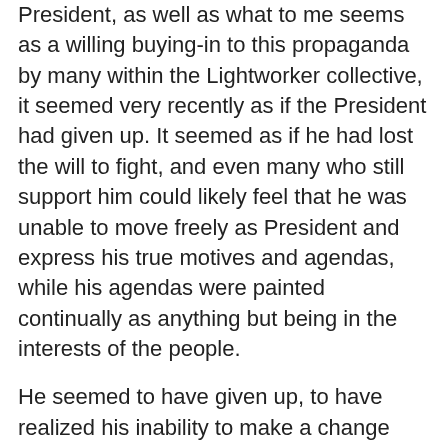President, as well as what to me seems as a willing buying-in to this propaganda by many within the Lightworker collective, it seemed very recently as if the President had given up. It seemed as if he had lost the will to fight, and even many who still support him could likely feel that he was unable to move freely as President and express his true motives and agendas, while his agendas were painted continually as anything but being in the interests of the people.
He seemed to have given up, to have realized his inability to make a change while within a limited position that we have been taught is much more of a powerful position than it actually is. Just looking at the President, it seemed as if he was in a calm yet deflated state and it seems to me that this has changed very recently.
I think that Obama is on a fast pace to making a 'comeback' of sorts and I believe that this election is crucial to his ability to bring-forth plans that are in the best interests of not only